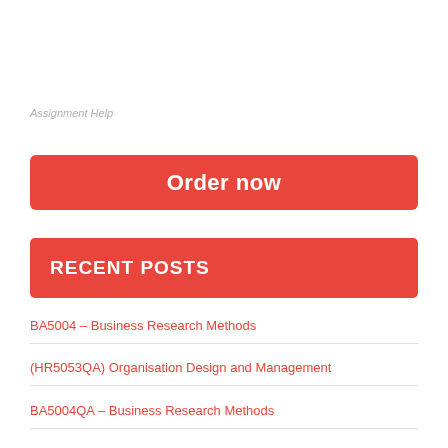Assignment Help
[Figure (other): Red 'Order now' button]
RECENT POSTS
BA5004 – Business Research Methods
(HR5053QA) Organisation Design and Management
BA5004QA – Business Research Methods